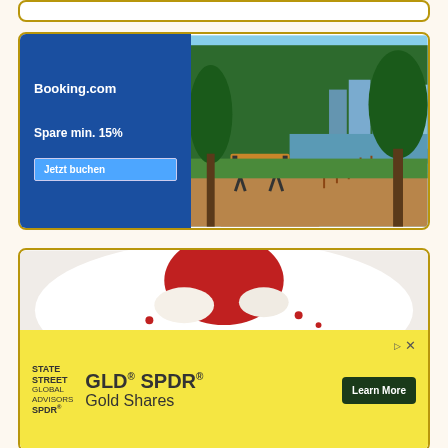[Figure (screenshot): Partial top white card with gold border, mostly cropped]
[Figure (screenshot): Booking.com advertisement with blue left panel showing logo, 'Spare min. 15%' text and 'Jetzt buchen' button, right side shows park/bench scene with trees and city skyline]
[Figure (screenshot): Food advertisement partially visible showing dessert/food on plate, overlaid by State Street GLD SPDR Gold Shares advertisement in yellow with 'Learn More' button]